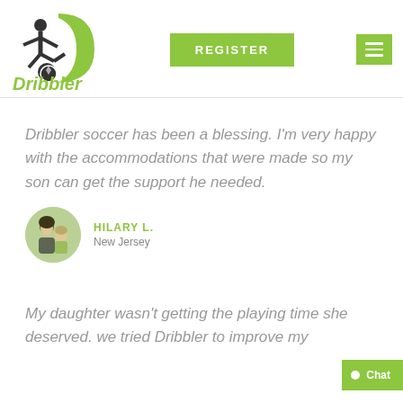[Figure (logo): Dribbler soccer logo with silhouette of soccer player kicking ball and green D swoosh, with italic green 'Dribbler' text below]
[Figure (other): Green 'REGISTER' button]
[Figure (other): Green hamburger menu icon button]
Dribbler soccer has been a blessing. I'm very happy with the accommodations that were made so my son can get the support he needed.
[Figure (photo): Circular avatar photo of Hilary L. with a child]
HILARY L.
New Jersey
My daughter wasn't getting the playing time she deserved. we tried Dribbler to improve my